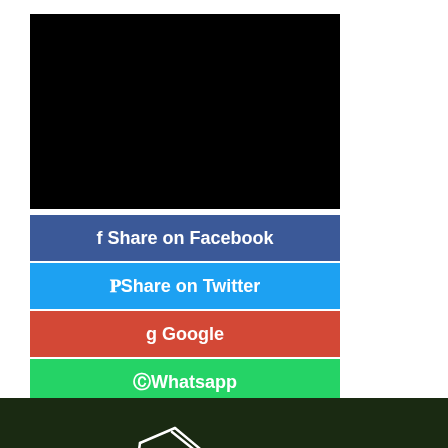[Figure (photo): Black rectangle, likely redacted image or video placeholder]
[Figure (infographic): Social media share buttons: Facebook (blue), Twitter (cyan), Google (red), Whatsapp (green)]
[Figure (photo): Cannabis plant with THC/CBD chemical structure diagram overlaid in white lines, showing a multi-ring organic molecule with OH group, H atoms, and O atom labels]